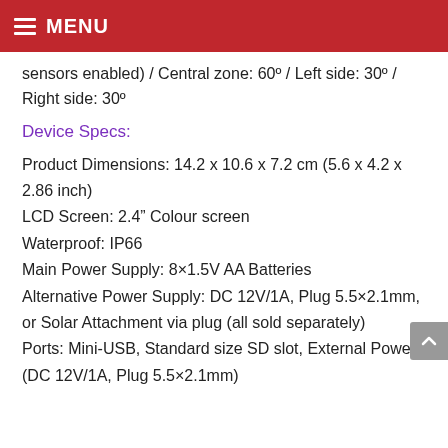MENU
sensors enabled) / Central zone: 60° / Left side: 30° / Right side: 30°
Device Specs:
Product Dimensions: 14.2 x 10.6 x 7.2 cm (5.6 x 4.2 x 2.86 inch)
LCD Screen: 2.4" Colour screen
Waterproof: IP66
Main Power Supply: 8×1.5V AA Batteries
Alternative Power Supply: DC 12V/1A, Plug 5.5×2.1mm, or Solar Attachment via plug (all sold separately)
Ports: Mini-USB, Standard size SD slot, External Power (DC 12V/1A, Plug 5.5×2.1mm)